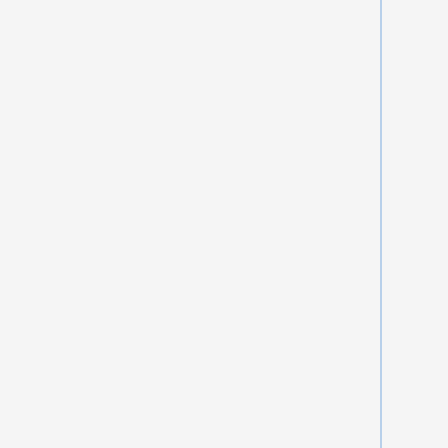| Name | ? | Date |
| --- | --- | --- |
|  |  |  |
| u-to +/- | ? | 2022-0
30 |
| u4-hu +/- | ? | 2014-1
16 |
| vgd_6 +/- | ? | 2022-0
30 |
| viddy-it +/- | ? | 2014-1
18 |
| waa-ai +/- | ? | 2014-1
16 |
| xco +/- | ? | 2014-1
22 |
| xrl-us +/- | ? | 2015-0
10 |